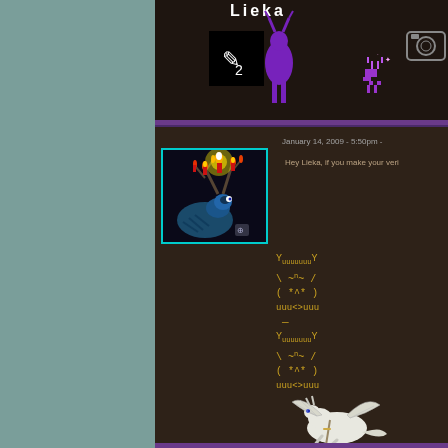[Figure (screenshot): Website/forum page with dark brown background, teal/green sidebar on left, purple accent lines, header with 'Lieka' text and purple deer pixel art, main content area showing a candlelit deer antlers artwork with cyan border, date January 14 2009 5:50pm, comment text, ASCII art emoticons in gold/yellow color repeated twice, and a white dragon illustration at bottom]
Lieka
January 14, 2009 - 5:50pm -
Hey Lieka, if you make your veri
YuuuuuuuY
\ ~n~ /
( *^* )
uuu<>uuu
—
YuuuuuuuY
\ ~n~ /
( *^* )
uuu<>uuu